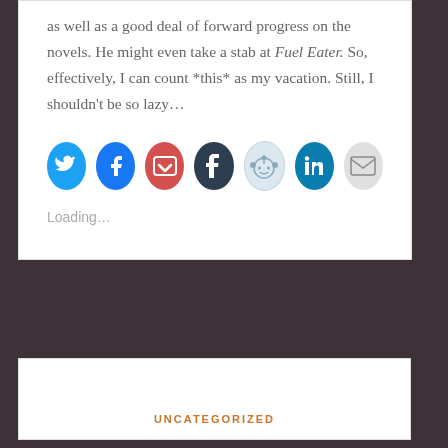as well as a good deal of forward progress on the novels. He might even take a stab at Fuel Eater. So, effectively, I can count *this* as my vacation. Still, I shouldn't be so lazy…
[Figure (other): Social sharing icons row: Twitter (blue), Facebook (blue), Pocket (red), Tumblr (dark navy), Reddit (light blue), LinkedIn (teal), Email (gray)]
Loading...
UNCATEGORIZED